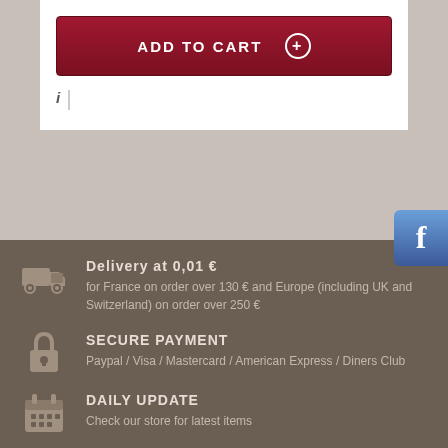[Figure (screenshot): Add to cart button - dark red/maroon button with white text ADD TO CART and a plus circle icon]
[Figure (logo): Facebook logo icon - blue square with white letter f]
Delivery at 0,01 €
for France on order over 130 € and Europe (including UK and Switzerland) on order over 250 €
SECURE PAYMENT
Paypal / Visa / Mastercard / American Express / Diners Club
DAILY UPDATE
Check our store for latest items
SUPPORT
Phone +33 (0)9 60 11 75 84